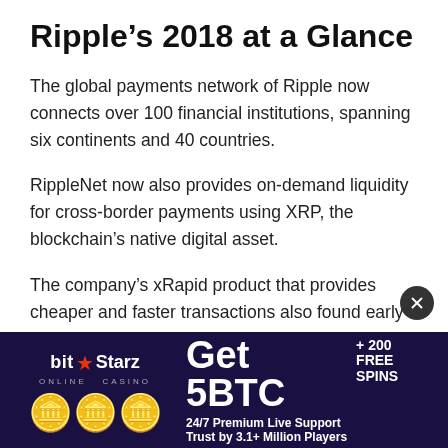Ripple’s 2018 at a Glance
The global payments network of Ripple now connects over 100 financial institutions, spanning six continents and 40 countries.
RippleNet now also provides on-demand liquidity for cross-border payments using XRP, the blockchain’s native digital asset.
The company’s xRapid product that provides cheaper and faster transactions also found early adopters in Catalyst Corporate Federal Credit Union, Cuallix and MercuryFX.
[Figure (infographic): BitStarz Online Casino advertisement banner with dark blue/purple background. Left side shows BitStarz logo with star and three gold coins. Right side shows 'Get 5BTC + 200 FREE SPINS' with '24/7 Premium Live Support' and 'Trust by 3.1+ Million Players'.]